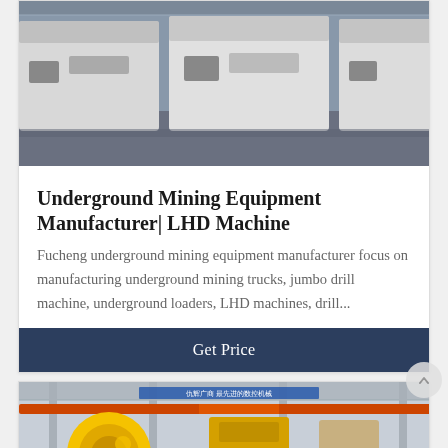[Figure (photo): Photo of white underground mining equipment/trucks parked in an industrial facility, viewed from a low angle showing the fronts and sides of the machines.]
Underground Mining Equipment Manufacturer| LHD Machine
Fucheng underground mining equipment manufacturer focus on manufacturing underground mining trucks, jumbo drill machine, underground loaders, LHD machines, drill...
Get Price
[Figure (photo): Photo of a manufacturing facility interior showing large yellow industrial machinery (jaw crusher or similar equipment) with overhead crane infrastructure and steel framework visible.]